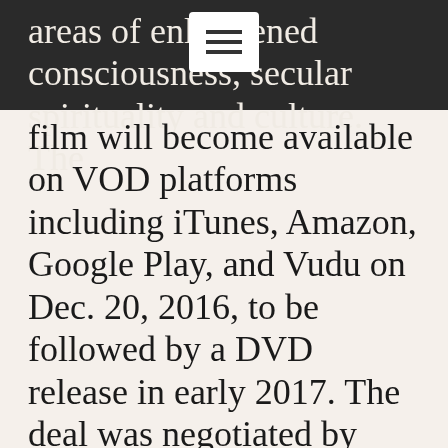areas of enlightened consciousness, secular spirituality and culture. The film will become available on VOD platforms including iTunes, Amazon, Google Play, and Vudu on Dec. 20, 2016, to be followed by a DVD release in early 2017. The deal was negotiated by Boll, the film's director and executive producer and producer Paula Kirk, and Wendy Lidell on behalf of Kino Lorber.
"A Small Good Thing does not pretend to have all the answers," said director Brooke Tappers Ball "Newspapers sloo St...